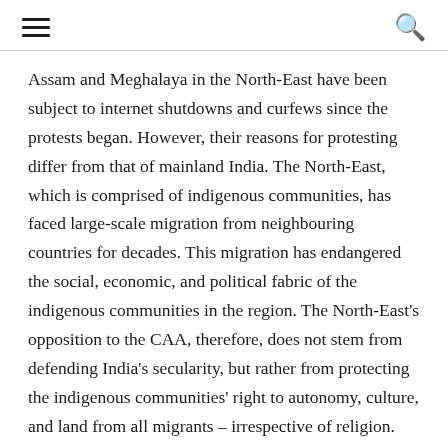[hamburger menu] [search icon]
Assam and Meghalaya in the North-East have been subject to internet shutdowns and curfews since the protests began. However, their reasons for protesting differ from that of mainland India. The North-East, which is comprised of indigenous communities, has faced large-scale migration from neighbouring countries for decades. This migration has endangered the social, economic, and political fabric of the indigenous communities in the region. The North-East's opposition to the CAA, therefore, does not stem from defending India's secularity, but rather from protecting the indigenous communities' right to autonomy, culture, and land from all migrants – irrespective of religion.
Additionally, other vulnerable communities, such as people from lower-income backgrounds, especially women and trans